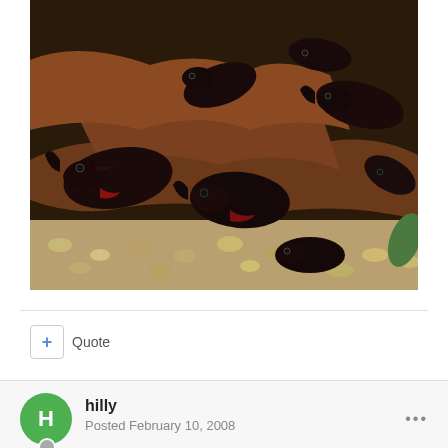[Figure (photo): Photograph of multiple dark-colored cichlid fish in an aquarium with rocky substrate, brown rocks/driftwood, and gravel. The fish appear dark/black with some reddish coloration visible.]
+ Quote
hilly
Posted February 10, 2008
yes the origanal 3 i got all have that colouration if there was any